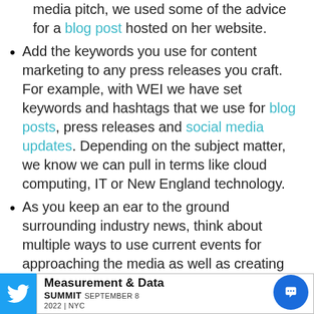media pitch, we used some of the advice for a blog post hosted on her website.
Add the keywords you use for content marketing to any press releases you craft. For example, with WEI we have set keywords and hashtags that we use for blog posts, press releases and social media updates. Depending on the subject matter, we know we can pull in terms like cloud computing, IT or New England technology.
As you keep an ear to the ground surrounding industry news, think about multiple ways to use current events for approaching the media as well as creating new content. With Peterson Family Foundation, for example, we're able to use music therapy news in media pitches, blo...
Measurement & Data SUMMIT SEPTEMBER 8 2022 | NYC